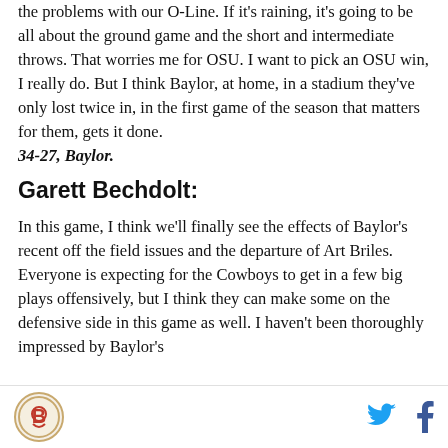the problems with our O-Line. If it's raining, it's going to be all about the ground game and the short and intermediate throws. That worries me for OSU. I want to pick an OSU win, I really do. But I think Baylor, at home, in a stadium they've only lost twice in, in the first game of the season that matters for them, gets it done. 34-27, Baylor.
Garett Bechdolt:
In this game, I think we'll finally see the effects of Baylor's recent off the field issues and the departure of Art Briles. Everyone is expecting for the Cowboys to get in a few big plays offensively, but I think they can make some on the defensive side in this game as well. I haven't been thoroughly impressed by Baylor's